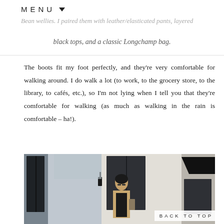MENU
Bean wellies. I paired them with leather/elasticated pants, layered black tops, and a classic Longchamp bag.
The boots fit my foot perfectly, and they’re very comfortable for walking around. I do walk a lot (to work, to the grocery store, to the library, to cafés, etc.), so I’m not lying when I tell you that they’re comfortable for walking (as much as walking in the rain is comfortable – ha!).
[Figure (photo): A woman with dark hair and glasses standing on a city street in front of a white brick building with large black-framed windows and black awnings.]
BACK TO TOP